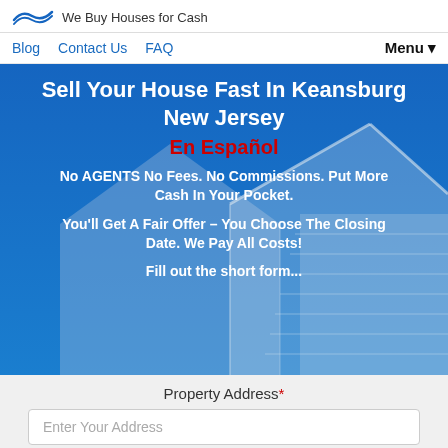We Buy Houses for Cash
Blog  Contact Us  FAQ  Menu
Sell Your House Fast In Keansburg New Jersey
En Español
No AGENTS No Fees. No Commissions. Put More Cash In Your Pocket.
You'll Get A Fair Offer – You Choose The Closing Date. We Pay All Costs!
Fill out the short form...
Property Address*
Enter Your Address